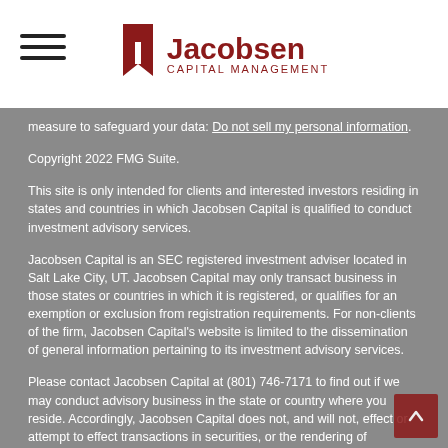Jacobsen Capital Management
measure to safeguard your data: Do not sell my personal information.
Copyright 2022 FMG Suite.
This site is only intended for clients and interested investors residing in states and countries in which Jacobsen Capital is qualified to conduct investment advisory services.
Jacobsen Capital is an SEC registered investment adviser located in Salt Lake City, UT. Jacobsen Capital may only transact business in those states or countries in which it is registered, or qualifies for an exemption or exclusion from registration requirements. For non-clients of the firm, Jacobsen Capital's website is limited to the dissemination of general information pertaining to its investment advisory services.
Please contact Jacobsen Capital at (801) 746-7171 to find out if we may conduct advisory business in the state or country where you reside. Accordingly, Jacobsen Capital does not, and will not, effect or attempt to effect transactions in securities, or the rendering of personalized investment advice for compensation, through this website. Any subsequent, direct communication with a prospective client shall be conducted by a Jacobsen Capital representative who is either registered or qualifies for an exemption or exclusion from registration in the state or country where the prospective client resides.